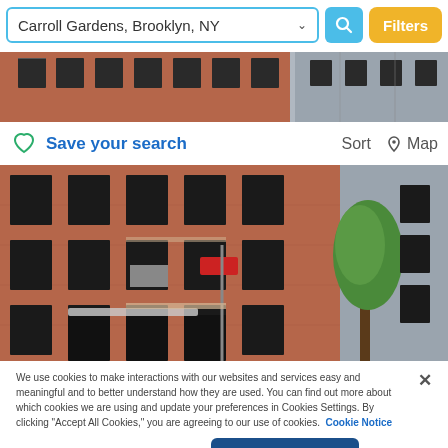Carroll Gardens, Brooklyn, NY
[Figure (screenshot): Top strip photo of red brick apartment building facade]
Save your search
Sort   Map
[Figure (photo): Photo of red brick multi-story apartment buildings in Carroll Gardens, Brooklyn, with a green tree visible on the right side]
We use cookies to make interactions with our websites and services easy and meaningful and to better understand how they are used. You can find out more about which cookies we are using and update your preferences in Cookies Settings. By clicking "Accept All Cookies," you are agreeing to our use of cookies.  Cookie Notice
Cookies Settings
Accept All Cookies